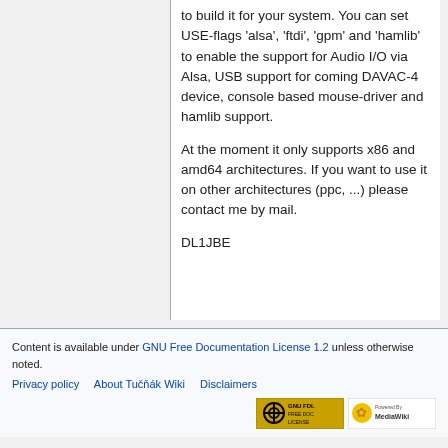to build it for your system. You can set USE-flags 'alsa', 'ftdi', 'gpm' and 'hamlib' to enable the support for Audio I/O via Alsa, USB support for coming DAVAC-4 device, console based mouse-driver and hamlib support.
At the moment it only supports x86 and amd64 architectures. If you want to use it on other architectures (ppc, ...) please contact me by mail.
DL1JBE
Content is available under GNU Free Documentation License 1.2 unless otherwise noted.
Privacy policy   About Tučňák Wiki   Disclaimers